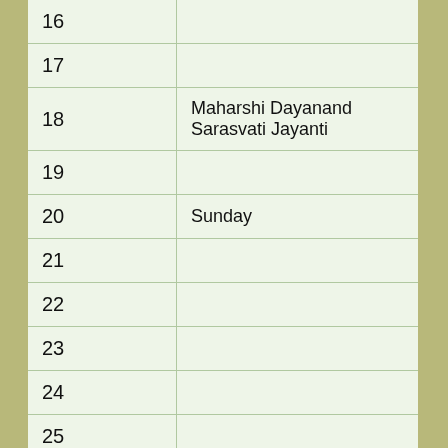| Day | Event |
| --- | --- |
| 16 |  |
| 17 |  |
| 18 | Maharshi Dayanand Sarasvati Jayanti |
| 19 |  |
| 20 | Sunday |
| 21 |  |
| 22 |  |
| 23 |  |
| 24 |  |
| 25 |  |
| 26 |  |
| 27 | Sunday |